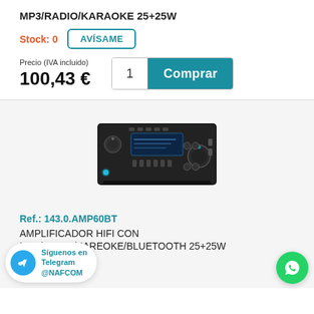MP3/RADIO/KARAOKE 25+25W
Stock: 0
AVÍSAME
Precio (IVA incluido)
100,43 €
1  Comprar
[Figure (photo): Amplifier device, black, with blue LED display and knobs]
Ref.: 143.0.AMP60BT
AMPLIFICADOR HIFI CON MP3/RADIO/KAREOKE/BLUETOOTH 25+25W
Síguenos en Telegram @NAFCOM